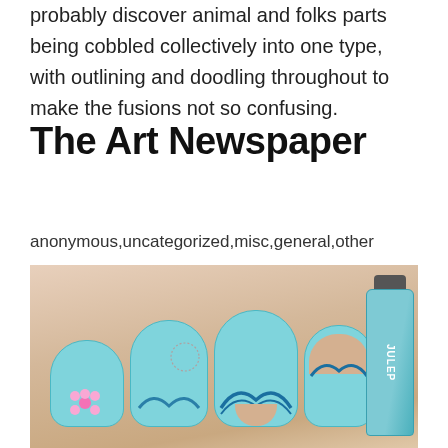probably discover animal and folks parts being cobbled collectively into one type, with outlining and doodling throughout to make the fusions not so confusing.
The Art Newspaper
anonymous,uncategorized,misc,general,other
[Figure (photo): Close-up photo of a hand with light blue nail polish painted with wave and floral designs, next to a Julep nail polish bottle in turquoise/blue color.]